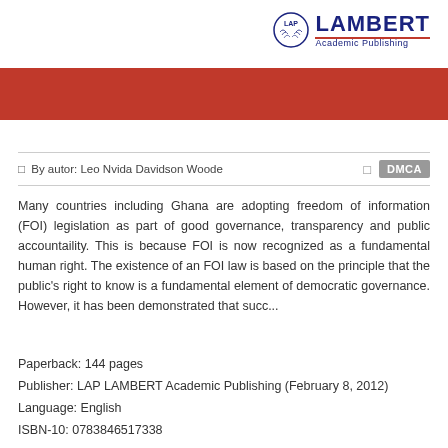[Figure (logo): LAP LAMBERT Academic Publishing logo with circular emblem and text]
[Figure (other): Red decorative horizontal bar]
By autor: Leo Nvida Davidson Woode   DMCA
Many countries including Ghana are adopting freedom of information (FOI) legislation as part of good governance, transparency and public accountaility. This is because FOI is now recognized as a fundamental human right. The existence of an FOI law is based on the principle that the public's right to know is a fundamental element of democratic governance. However, it has been demonstrated that succ...
Paperback: 144 pages
Publisher: LAP LAMBERT Academic Publishing (February 8, 2012)
Language: English
ISBN-10: 0783846517338